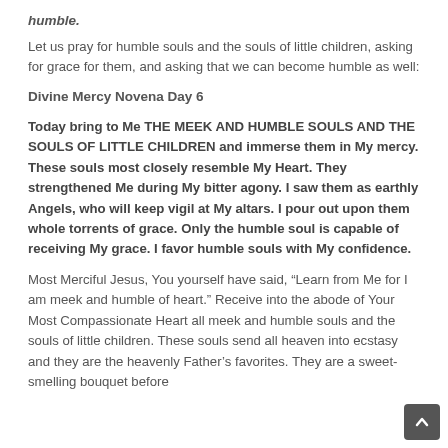humble.
Let us pray for humble souls and the souls of little children, asking for grace for them, and asking that we can become humble as well:
Divine Mercy Novena Day 6
Today bring to Me THE MEEK AND HUMBLE SOULS AND THE SOULS OF LITTLE CHILDREN and immerse them in My mercy. These souls most closely resemble My Heart. They strengthened Me during My bitter agony. I saw them as earthly Angels, who will keep vigil at My altars. I pour out upon them whole torrents of grace. Only the humble soul is capable of receiving My grace. I favor humble souls with My confidence.
Most Merciful Jesus, You yourself have said, “Learn from Me for I am meek and humble of heart.” Receive into the abode of Your Most Compassionate Heart all meek and humble souls and the souls of little children. These souls send all heaven into ecstasy and they are the heavenly Father’s favorites. They are a sweet-smelling bouquet before the throne of God. God Himself is delighted by their fragrance. The